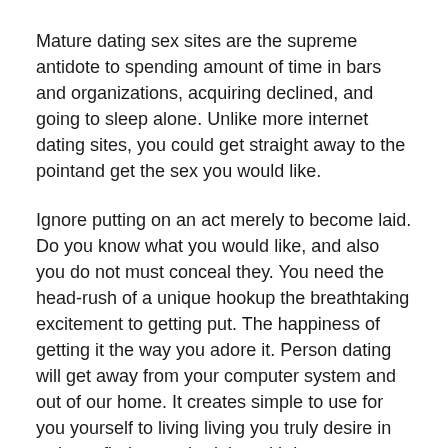Mature dating sex sites are the supreme antidote to spending amount of time in bars and organizations, acquiring declined, and going to sleep alone. Unlike more internet dating sites, you could get straight away to the pointand get the sex you would like.
Ignore putting on an act merely to become laid. Do you know what you would like, and also you do not must conceal they. You need the head-rush of a unique hookup the breathtaking excitement to getting put. The happiness of getting it the way you adore it. Person dating will get away from your computer system and out of our home. It creates simple to use for you yourself to living living you truly desire in order to find sex schedules with hot women who only want to have fun. One-night really stands have never been simpler before. And its own time you have your own!
With mature dating sites, all things are done to streamline the capacity of arranging connectivity with no obligations. You wont have to be concerned with judgment mainly because